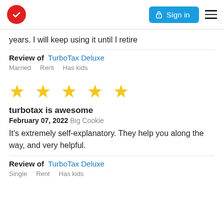TurboTax logo | Sign in | Menu
years. I will keep using it until I retire
Review of  TurboTax Deluxe
Married   Rent   Has kids
[Figure (other): 5 gold stars rating]
turbotax is awesome
February 07, 2022 Big Cookie
It's extremely self-explanatory. They help you along the way, and very helpful.
Review of  TurboTax Deluxe
Single   Rent   Has kids